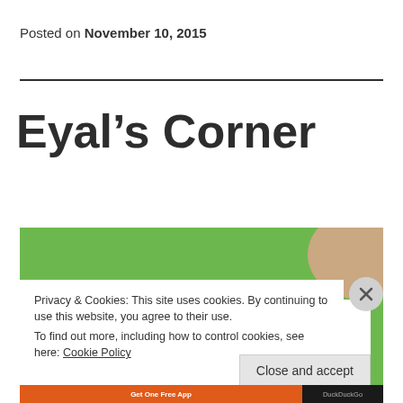Posted on November 10, 2015
Eyal's Corner
[Figure (photo): Green background photo with a partial view of a person, overlaid by a cookie consent banner]
Privacy & Cookies: This site uses cookies. By continuing to use this website, you agree to their use.
To find out more, including how to control cookies, see here: Cookie Policy
Close and accept